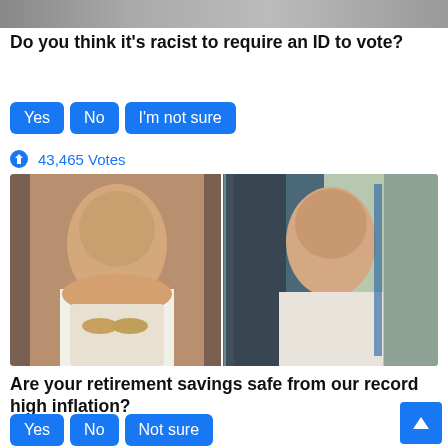[Figure (photo): Top partial image bar (cropped)]
Do you think it's racist to require an ID to vote?
Yes
No
I'm not sure
43,465 Votes
[Figure (photo): Two photos side by side: older woman with brown hair in white jacket on left, younger woman with glasses and dark hair in white jacket on right]
Are your retirement savings safe from our record high inflation?
Yes
No
Not sure